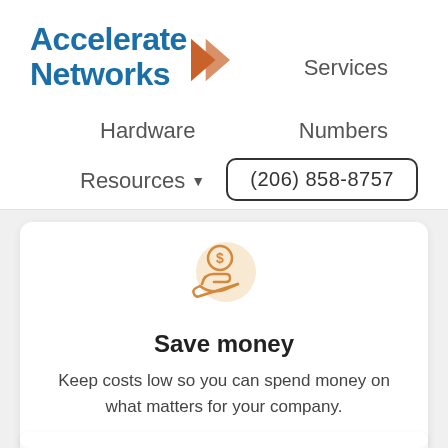[Figure (logo): Accelerate Networks logo with blue text and orange arrow]
Services
Hardware
Numbers
Resources ▾
(206) 858-8757
[Figure (illustration): Orange icon of a hand holding a coin/money symbol]
Save money
Keep costs low so you can spend money on what matters for your company.